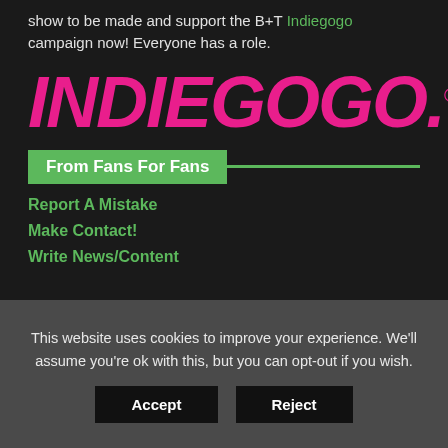show to be made and support the B+T Indiegogo campaign now! Everyone has a role.
[Figure (logo): Indiegogo logo in large bold pink italic text with registered trademark symbol]
From Fans For Fans
Report A Mistake
Make Contact!
Write News/Content
This website uses cookies to improve your experience. We'll assume you're ok with this, but you can opt-out if you wish.